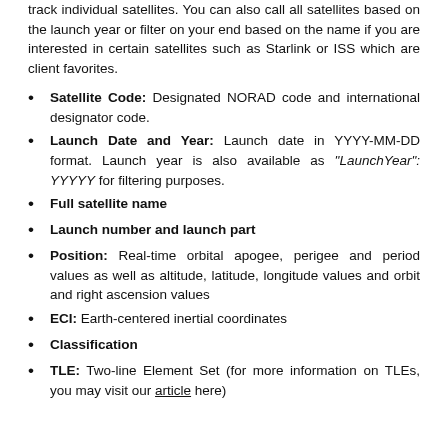track individual satellites. You can also call all satellites based on the launch year or filter on your end based on the name if you are interested in certain satellites such as Starlink or ISS which are client favorites.
Satellite Code: Designated NORAD code and international designator code.
Launch Date and Year: Launch date in YYYY-MM-DD format. Launch year is also available as "LaunchYear": YYYYY for filtering purposes.
Full satellite name
Launch number and launch part
Position: Real-time orbital apogee, perigee and period values as well as altitude, latitude, longitude values and orbit and right ascension values
ECI: Earth-centered inertial coordinates
Classification
TLE: Two-line Element Set (for more information on TLEs, you may visit our article here)